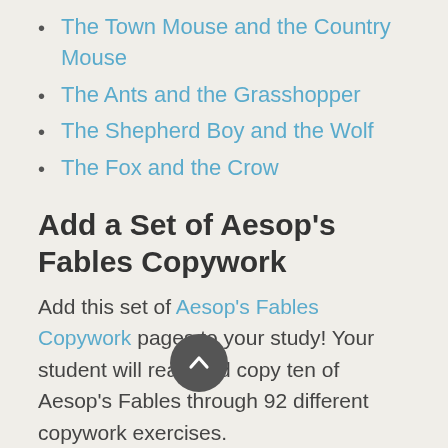The Town Mouse and the Country Mouse
The Ants and the Grasshopper
The Shepherd Boy and the Wolf
The Fox and the Crow
Add a Set of Aesop's Fables Copywork
Add this set of Aesop's Fables Copywork pages to your study! Your student will read and copy ten of Aesop's Fables through 92 different copywork exercises.